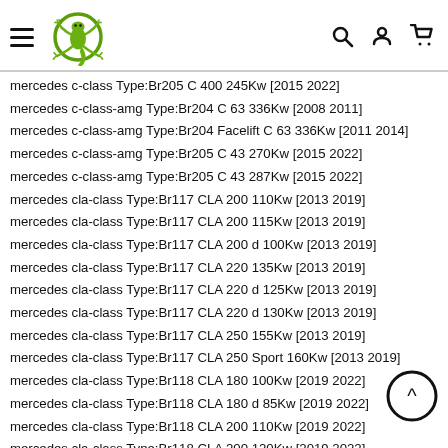[Figure (logo): Green gecko/lizard logo with circular outline, hamburger menu icon on left, search/user/cart icons on right]
mercedes c-class Type:Br205 C 400 245Kw [2015 2022]
mercedes c-class-amg Type:Br204 C 63 336Kw [2008 2011]
mercedes c-class-amg Type:Br204 Facelift C 63 336Kw [2011 2014]
mercedes c-class-amg Type:Br205 C 43 270Kw [2015 2022]
mercedes c-class-amg Type:Br205 C 43 287Kw [2015 2022]
mercedes cla-class Type:Br117 CLA 200 110Kw [2013 2019]
mercedes cla-class Type:Br117 CLA 200 115Kw [2013 2019]
mercedes cla-class Type:Br117 CLA 200 d 100Kw [2013 2019]
mercedes cla-class Type:Br117 CLA 220 135Kw [2013 2019]
mercedes cla-class Type:Br117 CLA 220 d 125Kw [2013 2019]
mercedes cla-class Type:Br117 CLA 220 d 130Kw [2013 2019]
mercedes cla-class Type:Br117 CLA 250 155Kw [2013 2019]
mercedes cla-class Type:Br117 CLA 250 Sport 160Kw [2013 2019]
mercedes cla-class Type:Br118 CLA 180 100Kw [2019 2022]
mercedes cla-class Type:Br118 CLA 180 d 85Kw [2019 2022]
mercedes cla-class Type:Br118 CLA 200 110Kw [2019 2022]
mercedes cla-class Type:Br118 CLA 200 120Kw [2019 2022]
mercedes cla-class Type:Br118 CLA 200 d 110Kw [2019 2022]
mercedes cla-class Type:Br118 CLA 220 140Kw [2019 2022]
mercedes cla-class Type:Br118 CLA 220 d 140Kw [2019 2022]
mercedes cla-class Type:Br118 CLA 250 165Kw [2019 2022]